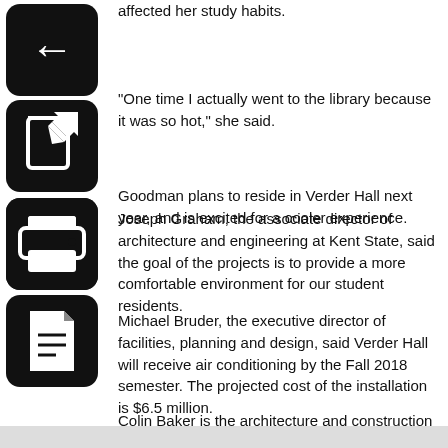affected her study habits.
"One time I actually went to the library because it was so hot," she said.
Goodman plans to reside in Verder Hall next year, and is excited for a cooler experience.
Joseph Graham, the associate director of architecture and engineering at Kent State, said the goal of the projects is to provide a more comfortable environment for our student residents.
Michael Bruder, the executive director of facilities, planning and design, said Verder Hall will receive air conditioning by the Fall 2018 semester. The projected cost of the installation is $6.5 million.
Colin Baker is the architecture and construction reporter. Contact him at cbaker72@kent.edu.